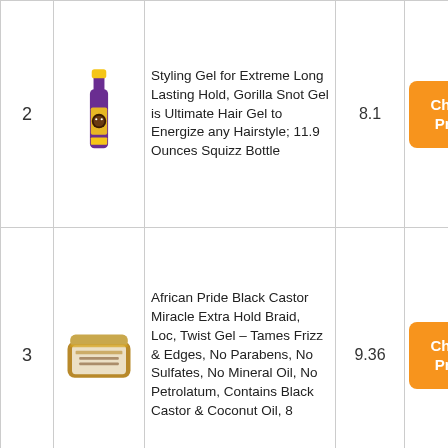| # | Image | Product | Score | Action |
| --- | --- | --- | --- | --- |
| 2 | [product image] | Styling Gel for Extreme Long Lasting Hold, Gorilla Snot Gel is Ultimate Hair Gel to Energize any Hairstyle; 11.9 Ounces Squizz Bottle | 8.1 | Check Price |
| 3 | [product image] | African Pride Black Castor Miracle Extra Hold Braid, Loc, Twist Gel – Tames Frizz & Edges, No Parabens, No Sulfates, No Mineral Oil, No Petrolatum, Contains Black Castor & Coconut Oil, 8 | 9.36 | Check Price |